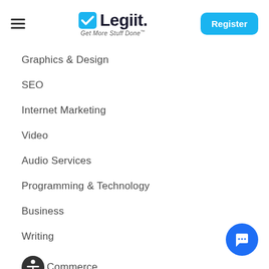Legiit - Get More Stuff Done
Graphics & Design
SEO
Internet Marketing
Video
Audio Services
Programming & Technology
Business
Writing
Commerce
Lifestyle